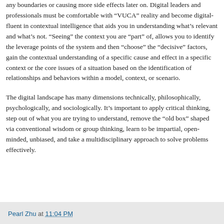any boundaries or causing more side effects later on. Digital leaders and professionals must be comfortable with “VUCA” reality and become digital-fluent in contextual intelligence that aids you in understanding what’s relevant and what’s not. “Seeing” the context you are “part” of, allows you to identify the leverage points of the system and then “choose” the “decisive” factors, gain the contextual understanding of a specific cause and effect in a specific context or the core issues of a situation based on the identification of relationships and behaviors within a model, context, or scenario.
The digital landscape has many dimensions technically, philosophically, psychologically, and sociologically. It’s important to apply critical thinking, step out of what you are trying to understand, remove the “old box” shaped via conventional wisdom or group thinking, learn to be impartial, open-minded, unbiased, and take a multidisciplinary approach to solve problems effectively.
Pearl Zhu at 11:04 PM